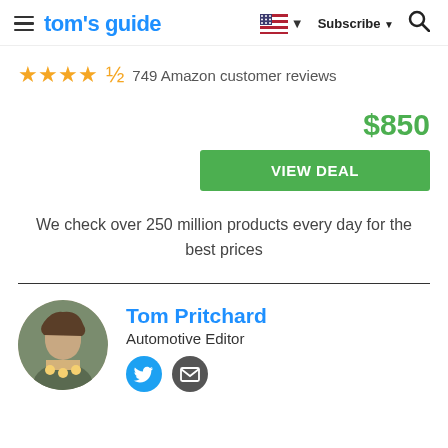tom's guide — Subscribe
★★★★☆ 749 Amazon customer reviews
$850
VIEW DEAL
We check over 250 million products every day for the best prices
Tom Pritchard — Automotive Editor